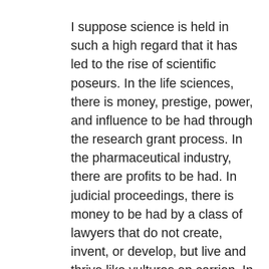I suppose science is held in such a high regard that it has led to the rise of scientific poseurs. In the life sciences, there is money, prestige, power, and influence to be had through the research grant process. In the pharmaceutical industry, there are profits to be had. In judicial proceedings, there is money to be had by a class of lawyers that do not create, invent, or develop, but live and thrive like vultures on carrion. In regulatory matters, there are